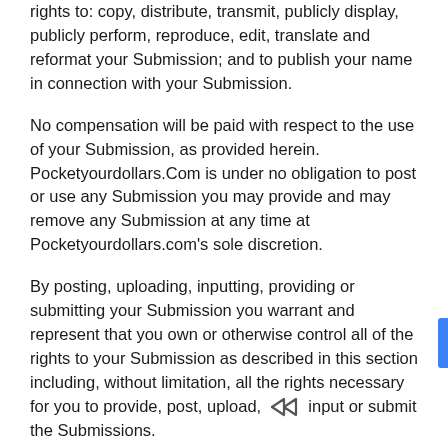rights to: copy, distribute, transmit, publicly display, publicly perform, reproduce, edit, translate and reformat your Submission; and to publish your name in connection with your Submission.
No compensation will be paid with respect to the use of your Submission, as provided herein. Pocketyourdollars.Com is under no obligation to post or use any Submission you may provide and may remove any Submission at any time at Pocketyourdollars.com's sole discretion.
By posting, uploading, inputting, providing or submitting your Submission you warrant and represent that you own or otherwise control all of the rights to your Submission as described in this section including, without limitation, all the rights necessary for you to provide, post, upload, input or submit the Submissions.